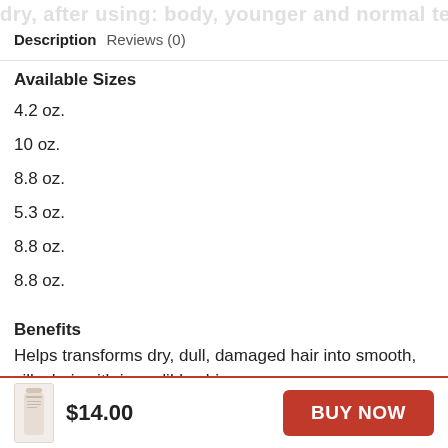Description   Reviews (0)
Available Sizes
4.2 oz.
10 oz.
8.8 oz.
5.3 oz.
8.8 oz.
8.8 oz.
Benefits
Helps transforms dry, dull, damaged hair into smooth, silky hair with incredible shine.
$14.00   BUY NOW